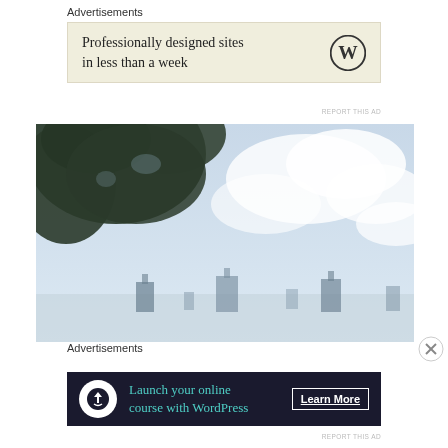Advertisements
[Figure (screenshot): WordPress advertisement banner with beige background showing text 'Professionally designed sites in less than a week' with WordPress logo]
REPORT THIS AD
[Figure (photo): Outdoor photo showing tree branches in upper left against a partly cloudy sky, with blurry dark urban structures at the bottom]
Advertisements
[Figure (screenshot): Dark navy WordPress advertisement banner with text 'Launch your online course with WordPress' and 'Learn More' button]
REPORT THIS AD